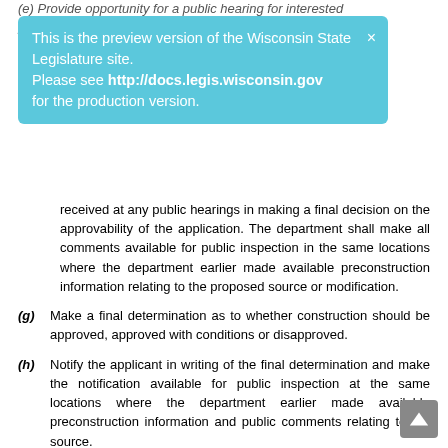(e) Provide opportunity for a public hearing for interested persons to appear and submit written or oral comments on
[Figure (screenshot): Preview banner: 'This is the preview version of the Wisconsin State Legislature site. Please see http://docs.legis.wisconsin.gov for the production version.']
received at any public hearings in making a final decision on the approvability of the application. The department shall make all comments available for public inspection in the same locations where the department earlier made available preconstruction information relating to the proposed source or modification.
(g) Make a final determination as to whether construction should be approved, approved with conditions or disapproved.
(h) Notify the applicant in writing of the final determination and make the notification available for public inspection at the same locations where the department earlier made available preconstruction information and public comments relating to the source.
History: Cr. Register, May, 1993, No. 449, eff. 6-1-93; am. (2) (intro.), Register, August, 2000, No. 536, eff. 9-1-00.
NR 408.10   Source obligation.
(1) Any owner or operator who constructs or operates a stationary source or modification not in accordance with the application